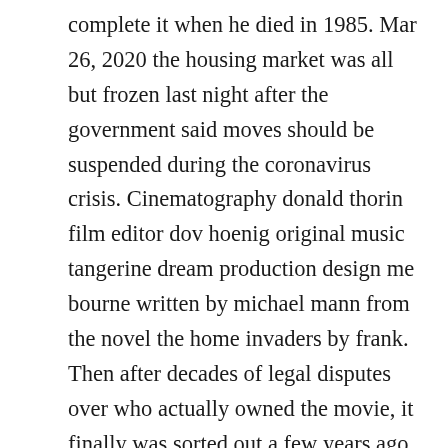complete it when he died in 1985. Mar 26, 2020 the housing market was all but frozen last night after the government said moves should be suspended during the coronavirus crisis. Cinematography donald thorin film editor dov hoenig original music tangerine dream production design me bourne written by michael mann from the novel the home invaders by frank. Then after decades of legal disputes over who actually owned the movie, it finally was sorted out a few years ago and netflix bankrolled its completion.